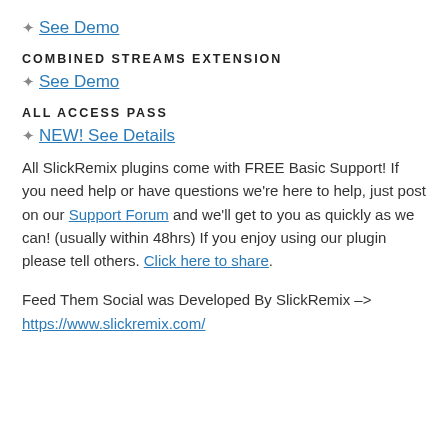★ See Demo
COMBINED STREAMS EXTENSION
★ See Demo
ALL ACCESS PASS
★ NEW! See Details
All SlickRemix plugins come with FREE Basic Support! If you need help or have questions we're here to help, just post on our Support Forum and we'll get to you as quickly as we can! (usually within 48hrs) If you enjoy using our plugin please tell others. Click here to share.
Feed Them Social was Developed By SlickRemix –> https://www.slickremix.com/